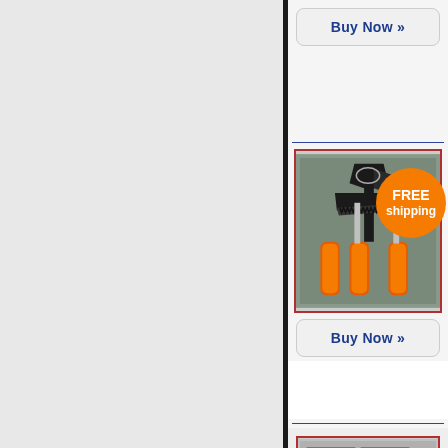[Figure (screenshot): Left panel: gray background, partial webpage view]
[Figure (screenshot): Right panel: e-commerce product listing with Buy Now buttons, FREE shipping badge, and product images of a knife/axe tool set]
Buy Now »
FREE shipping
[Figure (photo): Product photo: knife and axe set with orange handles in packaging]
Buy Now »
[Figure (photo): Partial product photo at bottom of page]